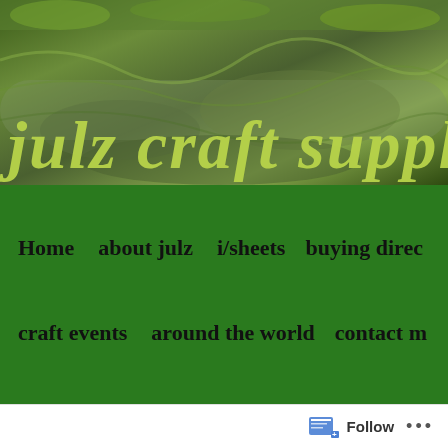[Figure (screenshot): Website banner for 'julz craft supplies' with nature/rock texture background and green styled text logo]
Home   about julz   i/sheets   buying direc...   craft events   around the world   contact m...
Posted on 19/01/2015 by julz
[Figure (other): JAN 19 calendar date icon with circular decorative swirls]
Follow   ...